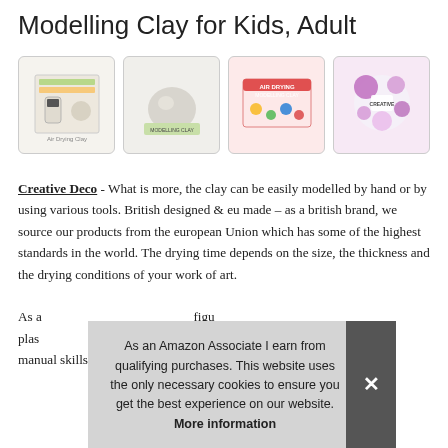Modelling Clay for Kids, Adult
[Figure (photo): Four product images of Creative Deco Air Drying Modelling Clay: side view of box, clay ball with packaging, colorful box front, and circular infographic packaging.]
Creative Deco - What is more, the clay can be easily modelled by hand or by using various tools. British designed & eu made – as a british brand, we source our products from the european Union which has some of the highest standards in the world. The drying time depends on the size, the thickness and the drying conditions of your work of art.

As a... figures... plasticine... manual skills with our product as it gives you and your children
As an Amazon Associate I earn from qualifying purchases. This website uses the only necessary cookies to ensure you get the best experience on our website. More information